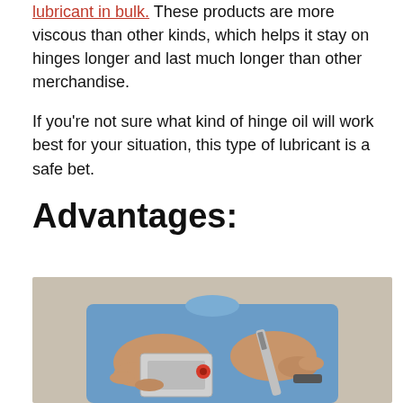lubricant in bulk. These products are more viscous than other kinds, which helps it stay on hinges longer and last much longer than other merchandise.
If you're not sure what kind of hinge oil will work best for your situation, this type of lubricant is a safe bet.
Advantages:
[Figure (photo): A person in a blue shirt holding a hinge with a screwdriver, demonstrating lubricant application.]